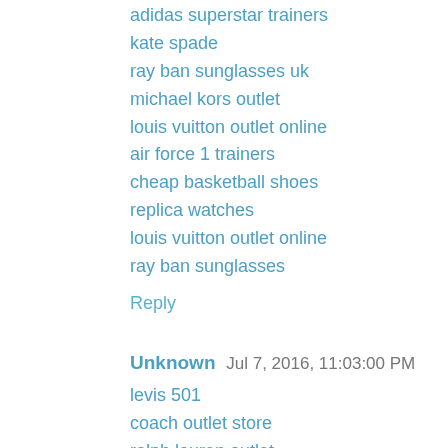adidas superstar trainers
kate spade
ray ban sunglasses uk
michael kors outlet
louis vuitton outlet online
air force 1 trainers
cheap basketball shoes
replica watches
louis vuitton outlet online
ray ban sunglasses
Reply
Unknown  Jul 7, 2016, 11:03:00 PM
levis 501
coach outlet store
ralph lauren outlet
michael kors handbags
michael kors outlet
michael kors outlet
michael kors outlet clearance
louis vuitton factory outlet